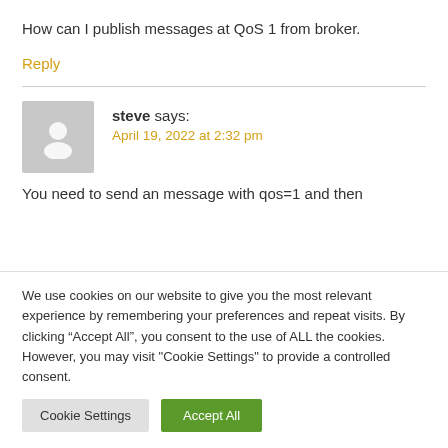How can I publish messages at QoS 1 from broker.
Reply
steve says:
April 19, 2022 at 2:32 pm
You need to send an message with qos=1 and then
We use cookies on our website to give you the most relevant experience by remembering your preferences and repeat visits. By clicking “Accept All”, you consent to the use of ALL the cookies. However, you may visit "Cookie Settings" to provide a controlled consent.